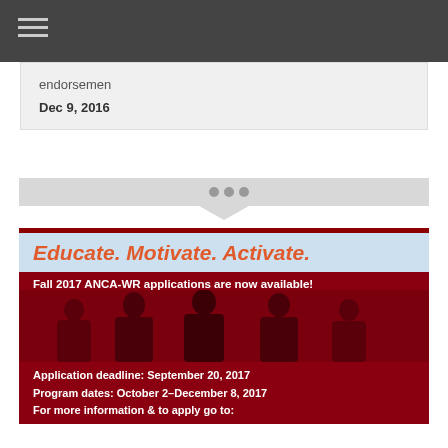endorsemen
Dec 9, 2016
[Figure (other): Navigation dots bar with arrow pointing down]
[Figure (infographic): ANCA-WR Fall 2017 program promotional banner. Header: 'Educate. Motivate. Activate.' Subheader: 'Fall 2017 ANCA-WR applications are now available!' Silhouettes of professionals. Application deadline: September 20, 2017. Program dates: October 2-December 8, 2017. For more information & to apply go to:]